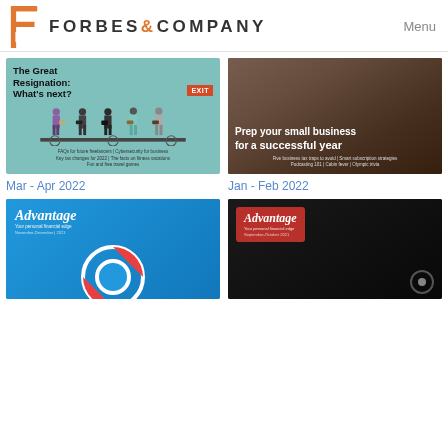FORBES & COMPANY — Menu
[Figure (illustration): Cover of Mar-Apr 2022 issue: The Great Resignation: What's next? with illustrated people walking on a conveyor belt toward an EXIT sign]
Mar - Apr 2022
[Figure (illustration): Cover of Jan-Feb 2022 issue: Prep your small business for a successful year, photo of two small business owners]
Jan - Feb 2022
[Figure (illustration): Cover of Advantage Nov-Dec 2021 issue with blue background and life preserver graphic]
[Figure (illustration): Cover of Advantage Sep-Oct 2021 issue with dark background]